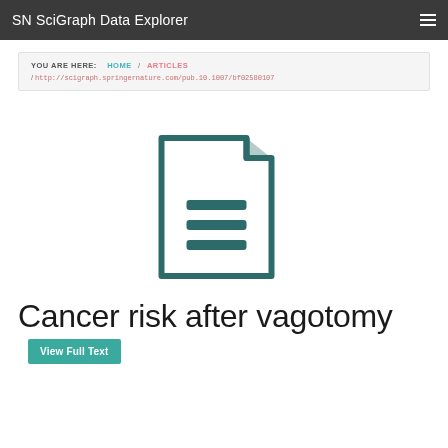SN SciGraph Data Explorer
YOU ARE HERE: HOME / ARTICLES / http://scigraph.springernature.com/pub.10.1007/bf02580107
[Figure (illustration): Document icon: a stylized page with a folded top-right corner and three horizontal lines representing text, rendered in dark teal/green outline style]
Cancer risk after vagotomy
View Full Text